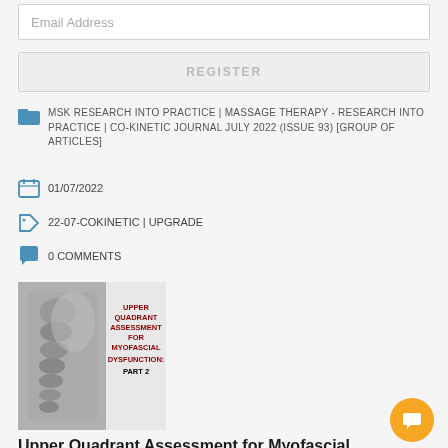Email Address
REGISTER
MSK RESEARCH INTO PRACTICE | MASSAGE THERAPY - RESEARCH INTO PRACTICE | CO-KINETIC JOURNAL JULY 2022 (ISSUE 93) [GROUP OF ARTICLES]
01/07/2022
22-07-COKINETIC | UPGRADE
0 COMMENTS
[Figure (illustration): Book/article cover thumbnail showing a spine anatomy illustration on the left and text 'UPPER QUADRANT ASSESSMENT FOR MYOFASCIAL DYSFUNCTION: PART 2' on the right]
Upper Quadrant Assessment for Myofascial